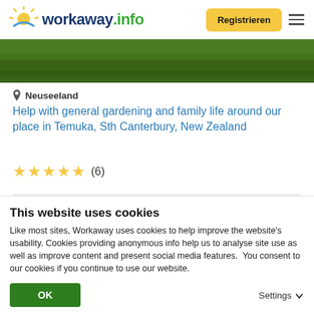workaway.info — Registrieren
[Figure (photo): Green grass/lawn outdoor photo banner]
Neuseeland
Help with general gardening and family life around our place in Temuka, Sth Canterbury, New Zealand
★★★★★ (6)
[Figure (other): Gray card area with blue heart icon]
This website uses cookies
Like most sites, Workaway uses cookies to help improve the website's usability. Cookies providing anonymous info help us to analyse site use as well as improve content and present social media features.  You consent to our cookies if you continue to use our website.
OK
Settings